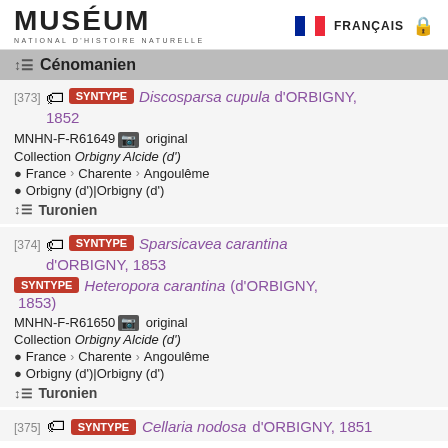MUSÉUM NATIONAL D'HISTOIRE NATURELLE | FRANÇAIS
Cénomanien
[373] SYNTYPE Discosparsa cupula d'ORBIGNY, 1852 MNHN-F-R61649 original Collection Orbigny Alcide (d') France > Charente > Angoulême Orbigny (d')|Orbigny (d') Turonien
[374] SYNTYPE Sparsicavea carantina d'ORBIGNY, 1853 SYNTYPE Heteropora carantina (d'ORBIGNY, 1853) MNHN-F-R61650 original Collection Orbigny Alcide (d') France > Charente > Angoulême Orbigny (d')|Orbigny (d') Turonien
[375] SYNTYPE Cellaria nodosa d'ORBIGNY, 1851